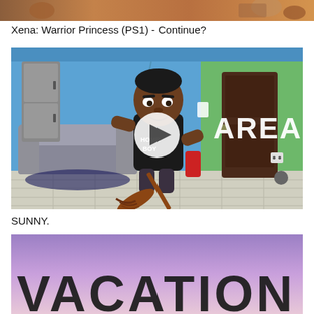[Figure (screenshot): Partial top strip of a video thumbnail showing characters from Xena Warrior Princess PS1 game]
Xena: Warrior Princess (PS1) - Continue?
[Figure (screenshot): Animated cartoon video thumbnail showing a character wearing a HOMEBOY shirt holding a broom in a living room setting with AREA text visible. A play button overlay is shown in the center.]
SUNNY.
[Figure (screenshot): Partial bottom image showing a purple/pink sky background with large bold dark text reading VACATION]